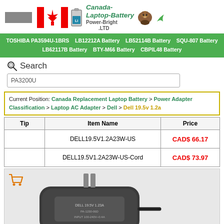[Figure (logo): Canada-Laptop-Battery / Power-Bright .LTD logo with Canadian flag and beaver]
TOSHIBA PA3594U-1BRS   LB12212A Battery   LB52114B Battery   SQU-807 Battery   LB62117B Battery   BTY-M66 Battery   CBPIL48 Battery
Search
PA3200U
Current Position: Canada Replacement Laptop Battery > Power Adapter Classification > Laptop AC Adapter > Dell > Dell 19.5v 1.2a
| Tip | Item Name | Price |
| --- | --- | --- |
|  | DELL19.5V1.2A23W-US | CAD$ 66.17 |
|  | DELL19.5V1.2A23W-US-Cord | CAD$ 73.97 |
[Figure (photo): Photo of a Dell laptop AC power adapter (black, compact, with prongs), with Canada-laptop-battery.com watermark]